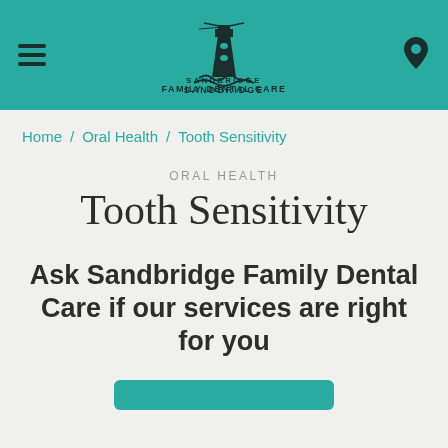[Figure (logo): Sandbridge Family Dental Care logo with lighthouse graphic on teal header background, hamburger menu icon on left, location pin icon on right]
Home / Oral Health / Tooth Sensitivity
ORAL HEALTH
Tooth Sensitivity
Ask Sandbridge Family Dental Care if our services are right for you